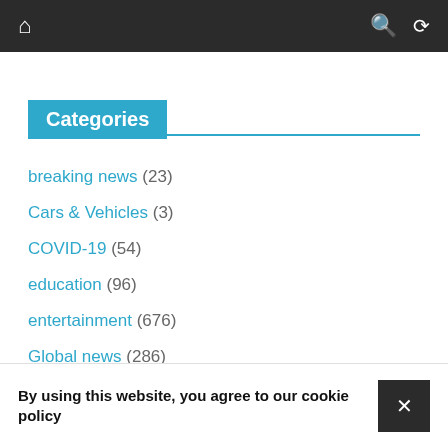Navigation bar with home icon, search icon, and shuffle icon
Categories
breaking news (23)
Cars & Vehicles (3)
COVID-19 (54)
education (96)
entertainment (676)
Global news (286)
happening now (21)
By using this website, you agree to our cookie policy